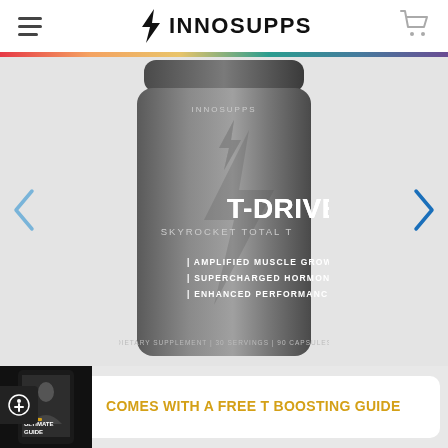INNOSUPPS
[Figure (photo): Innosupps T-Drive supplement bottle. Gray cylindrical container with lightning bolt logo. Text on bottle: T-DRIVE, SKYROCKET TOTAL T, AMPLIFIED MUSCLE GROWTH, SUPERCHARGED HORMONE LEVELS, ENHANCED PERFORMANCE, DIETARY SUPPLEMENT | 30 SERVINGS | 90 CAPSULES]
COMES WITH A FREE T BOOSTING GUIDE